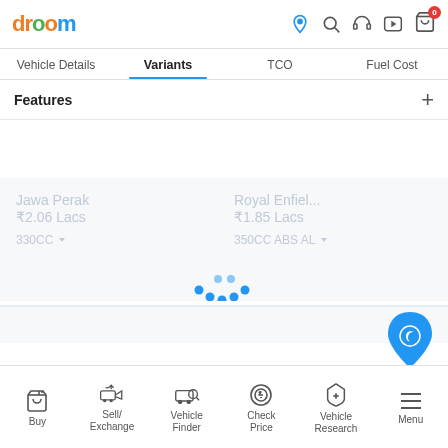droom
Vehicle Details | Variants | TCO | Fuel Cost
Features +
Jawa Perak ₹2.06 Lacs 330CC
Royal Enfield... ₹1.85 Lacs 350CC ABS AL
[Figure (infographic): Loading spinner - blue dots arranged in a smile/arc shape]
Buy | Sell/Exchange | Vehicle Finder | Check Price | Vehicle Research | Menu